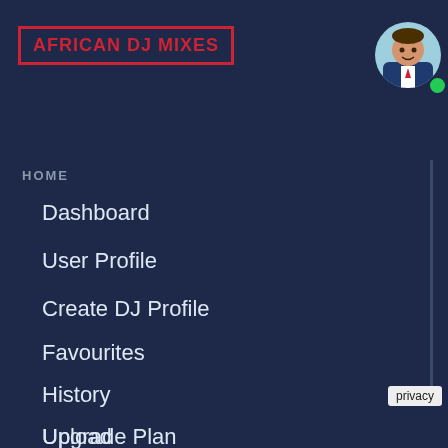AFRICAN DJ MIXES
HOME
Dashboard
User Profile
Create DJ Profile
Favourites
History
Upgrade Plan
Upload
s (2007-2012)
ck Pop Hits
Free Mp3
DJ Mixes -
ixes
enya
op Hits (2007-
ree Mp3
African DJ Mixes
Hits!
ack Pop Hits (2
privacy